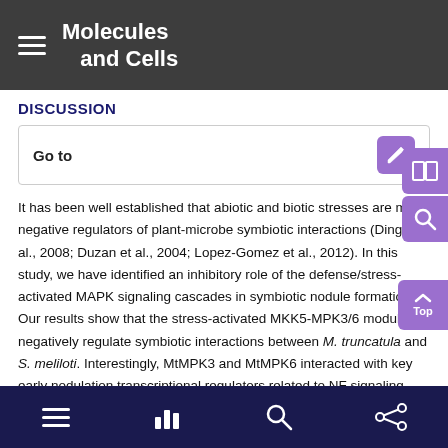Molecules and Cells
DISCUSSION
Go to
It has been well established that abiotic and biotic stresses are major negative regulators of plant-microbe symbiotic interactions (Ding et al., 2008; Duzan et al., 2004; Lopez-Gomez et al., 2012). In this study, we have identified an inhibitory role of the defense/stress-activated MAPK signaling cascades in symbiotic nodule formation. Our results show that the stress-activated MKK5-MPK3/6 modules negatively regulate symbiotic interactions between M. truncatula and S. meliloti. Interestingly, MtMPK3 and MtMPK6 interacted with key early nodulation transcriptional regulators related to NF signaling, ERN1 and NSP1. This integrates MAPK cascades into the regulation of the early transcriptional events required for symbiont
Navigation bar with menu, chart, search, and share icons